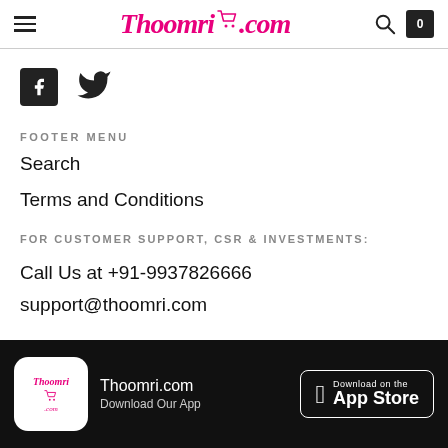Thoomri.com — navigation header with hamburger, logo, search, cart
[Figure (logo): Social media icons: Facebook and Twitter]
FOOTER MENU
Search
Terms and Conditions
FOR CUSTOMER SUPPORT, CSR & INVESTMENTS:
Call Us at +91-9937826666
support@thoomri.com
Thoomri.com — Download Our App — Download on the App Store